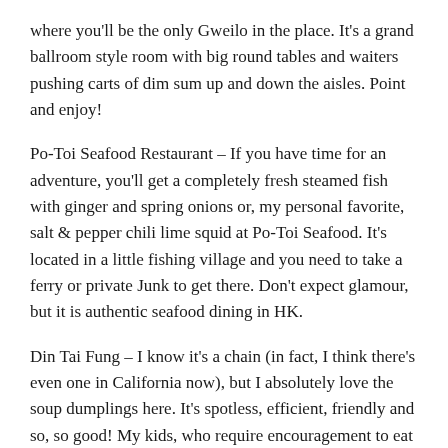where you'll be the only Gweilo in the place. It's a grand ballroom style room with big round tables and waiters pushing carts of dim sum up and down the aisles. Point and enjoy!
Po-Toi Seafood Restaurant – If you have time for an adventure, you'll get a completely fresh steamed fish with ginger and spring onions or, my personal favorite, salt & pepper chili lime squid at Po-Toi Seafood. It's located in a little fishing village and you need to take a ferry or private Junk to get there. Don't expect glamour, but it is authentic seafood dining in HK.
Din Tai Fung – I know it's a chain (in fact, I think there's even one in California now), but I absolutely love the soup dumplings here. It's spotless, efficient, friendly and so, so good! My kids, who require encouragement to eat veggies sometimes, can't get enough of the sautéed kale and dumplings here. There's one in Causeway Bay and another in Tsim Tsa Tsui (TST) across the harbor.